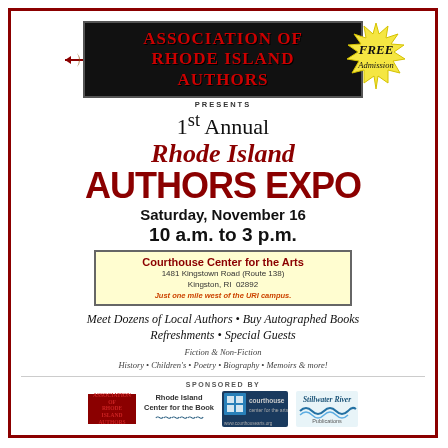[Figure (logo): Association of Rhode Island Authors logo — black rectangle with red bold text, decorative feather/quill arrows on sides]
[Figure (infographic): Yellow starburst badge with 'FREE Admission' text in italic]
PRESENTS
1st Annual Rhode Island AUTHORS EXPO
Saturday, November 16
10 a.m. to 3 p.m.
Courthouse Center for the Arts
1481 Kingstown Road (Route 138)
Kingston, RI  02892
Just one mile west of the URI campus.
Meet Dozens of Local Authors • Buy Autographed Books
Refreshments • Special Guests
Fiction & Non-Fiction
History • Children's • Poetry • Biography • Memoirs & more!
SPONSORED BY
[Figure (logo): Association of Rhode Island Authors small logo]
Rhode Island Center for the Book
[Figure (logo): Courthouse Center for the Arts logo]
[Figure (logo): Stillwater River Publications logo]